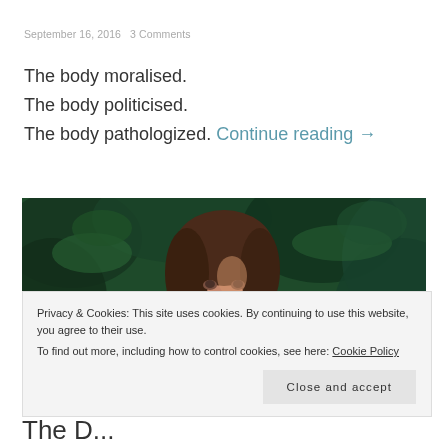September 16, 2016   3 Comments
The body moralised.
The body politicised.
The body pathologized. Continue reading →
[Figure (photo): A woman with dark hair among green forest ferns, looking at the camera]
Privacy & Cookies: This site uses cookies. By continuing to use this website, you agree to their use.
To find out more, including how to control cookies, see here: Cookie Policy
Close and accept
The Dp...